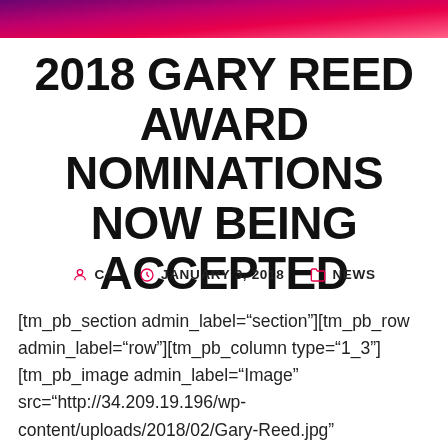[Figure (other): Decorative gradient banner header in purple-pink-red gradient]
2018 GARY REED AWARD NOMINATIONS NOW BEING ACCEPTED
C4   JANUARY 3, 2018   NEWS
[tm_pb_section admin_label="section"][tm_pb_row admin_label="row"][tm_pb_column type="1_3"] [tm_pb_image admin_label="Image" src="http://34.209.19.196/wp-content/uploads/2018/02/Gary-Reed.jpg" show_in_lightbox="off" url_new_window="off"